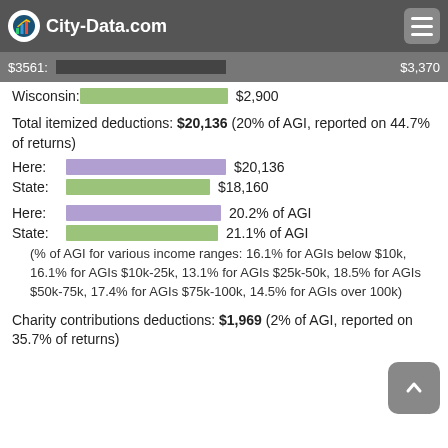City-Data.com
$3561:  $3,370
Wisconsin:  $2,900
Total itemized deductions: $20,136 (20% of AGI, reported on 44.7% of returns)
Here:  $20,136
State:  $18,160
Here:  20.2% of AGI
State:  21.1% of AGI
(% of AGI for various income ranges: 16.1% for AGIs below $10k, 16.1% for AGIs $10k-25k, 13.1% for AGIs $25k-50k, 18.5% for AGIs $50k-75k, 17.4% for AGIs $75k-100k, 14.5% for AGIs over 100k)
Charity contributions deductions: $1,969 (2% of AGI, reported on 35.7% of returns)